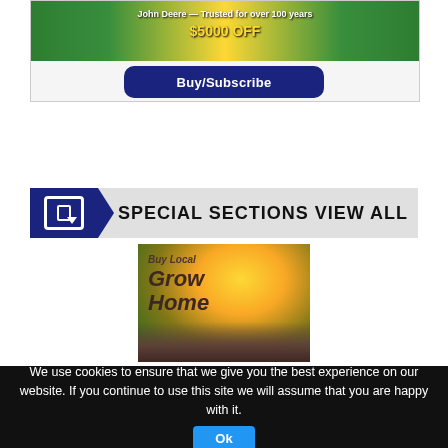[Figure (screenshot): John Deere advertisement banner with green tractors and '$5000 OFF' promotion text on a colorful strip]
[Figure (infographic): Blue rounded button with text 'Buy/Subscribe']
SPECIAL SECTIONS VIEW ALL
[Figure (photo): Magazine cover showing plants growing with text 'Buy Local Grow Home' in front of warm glowing background]
We use cookies to ensure that we give you the best experience on our website. If you continue to use this site we will assume that you are happy with it.
[Figure (infographic): Blue 'Ok' button in the cookie consent bar]